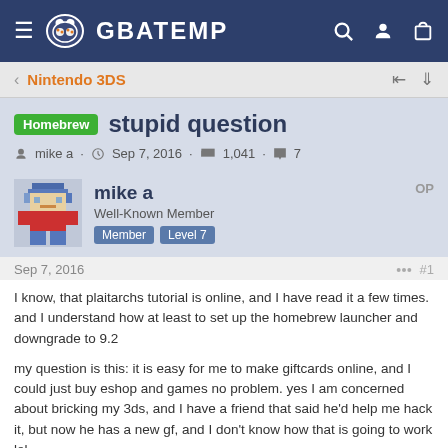GBATEMP
Nintendo 3DS
Homebrew stupid question
mike a · Sep 7, 2016 · 1,041 · 7
mike a
Well-Known Member
Member Level 7
OP
Sep 7, 2016
#1
I know, that plaitarchs tutorial is online, and I have read it a few times. and I understand how at least to set up the homebrew launcher and downgrade to 9.2
my question is this: it is easy for me to make giftcards online, and I could just buy eshop and games no problem. yes I am concerned about bricking my 3ds, and I have a friend that said he'd help me hack it, but now he has a new gf, and I don't know how that is going to work lol.